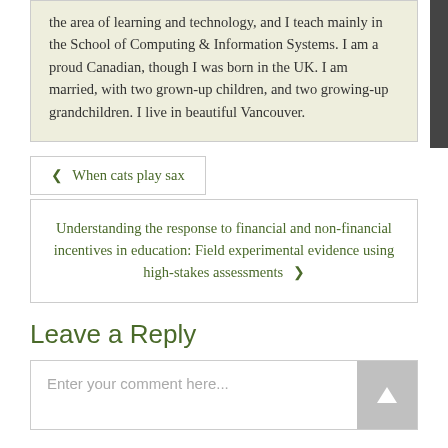the area of learning and technology, and I teach mainly in the School of Computing & Information Systems. I am a proud Canadian, though I was born in the UK. I am married, with two grown-up children, and two growing-up grandchildren. I live in beautiful Vancouver.
‹ When cats play sax
Understanding the response to financial and non-financial incentives in education: Field experimental evidence using high-stakes assessments ›
Leave a Reply
Enter your comment here...